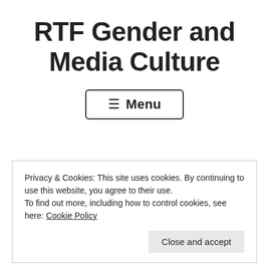RTF Gender and Media Culture
☰ Menu
Heteronormativity of The
Privacy & Cookies: This site uses cookies. By continuing to use this website, you agree to their use.
To find out more, including how to control cookies, see here: Cookie Policy
Close and accept